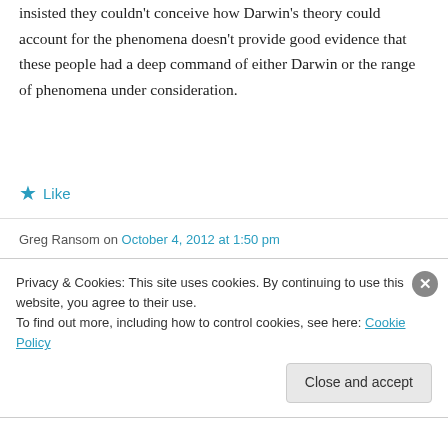insisted they couldn't conceive how Darwin's theory could account for the phenomena doesn't provide good evidence that these people had a deep command of either Darwin or the range of phenomena under consideration.
★ Like
Greg Ransom on October 4, 2012 at 1:50 pm
Hayek like Darwin provides an multi-instantiated
Privacy & Cookies: This site uses cookies. By continuing to use this website, you agree to their use.
To find out more, including how to control cookies, see here: Cookie Policy